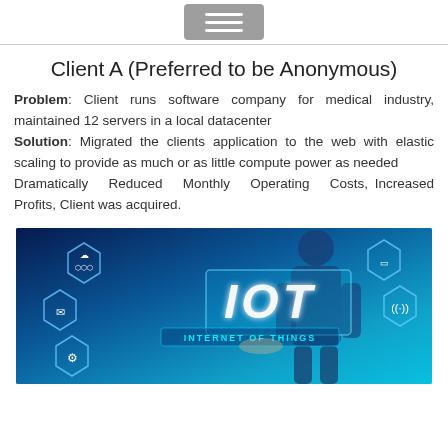≡
Client A (Preferred to be Anonymous)
Problem: Client runs software company for medical industry, maintained 12 servers in a local datacenter
Solution: Migrated the clients application to the web with elastic scaling to provide as much or as little compute power as needed
Dramatically Reduced Monthly Operating Costs, Increased Profits, Client was acquired.
[Figure (photo): IoT (Internet of Things) promotional image showing a person pointing at a glowing digital interface with hexagonal icons representing cloud, network, email, settings, and wireless connectivity, with large IOT text and 'INTERNET OF THINGS' subtitle on a blue background]